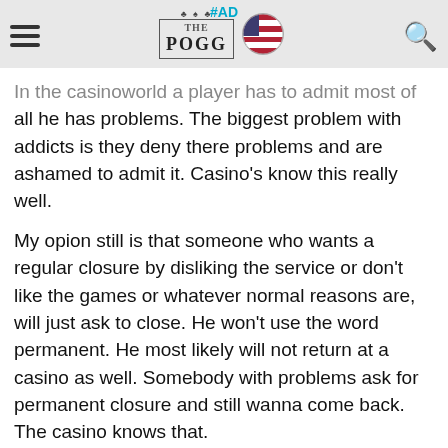#AD | THE POGG (logo) | US flag | Search icon
In the casinoworld a player has to admit most of all he has problems. The biggest problem with addicts is they deny there problems and are ashamed to admit it. Casino's know this really well.
My opion still is that someone who wants a regular closure by disliking the service or don't like the games or whatever normal reasons are, will just ask to close. He won't use the word permanent. He most likely will not return at a casino as well. Somebody with problems ask for permanent closure and still wanna come back. The casino knows that.
How far is casino responsibility going? Not far if I understand you well with the words significant evidence. And in my opion that is morally